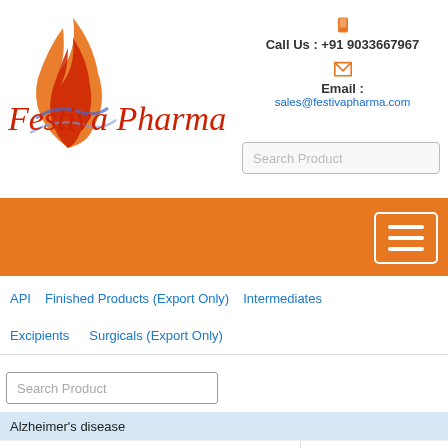[Figure (logo): Festiva Pharma logo with flame graphic and cursive red text]
Call Us : +91 9033667967
Email : sales@festivapharma.com
Search Product
[Figure (infographic): Orange navigation bar with hamburger menu icon]
API   Finished Products (Export Only)   Intermediates
Excipients   Surgicals (Export Only)
Search Product
Alzheimer's disease
Donepezil